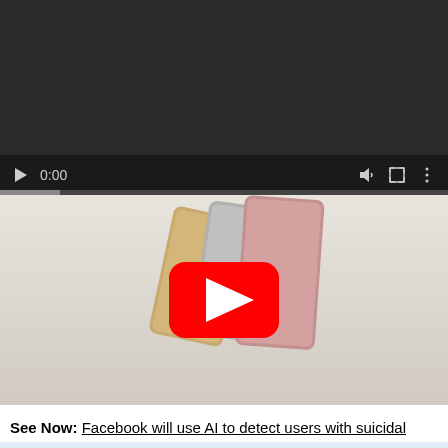[Figure (screenshot): YouTube video player showing controls bar with play button, 0:00 timestamp, volume, fullscreen and more options icons, with a progress bar. Thumbnail shows tablet devices fanned out on a light background with a YouTube play button overlay. A 'Watch on YouTube' button is visible at the bottom left of the thumbnail.]
See Now: Facebook will use AI to detect users with suicidal thoughts and prevent suicide